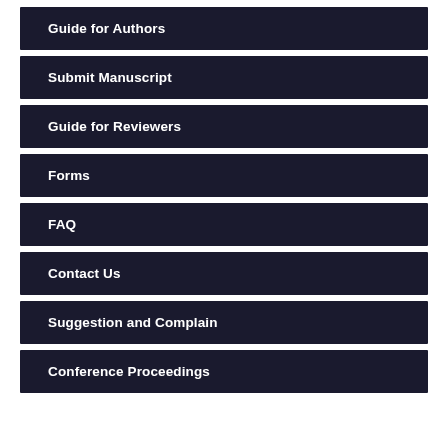Guide for Authors
Submit Manuscript
Guide for Reviewers
Forms
FAQ
Contact Us
Suggestion and Complain
Conference Proceedings